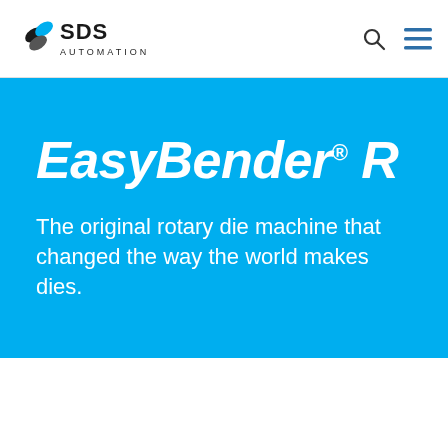[Figure (logo): SDS Automation logo with stylized S icon and text 'SDS AUTOMATION']
EasyBender® R
The original rotary die machine that changed the way the world makes dies.